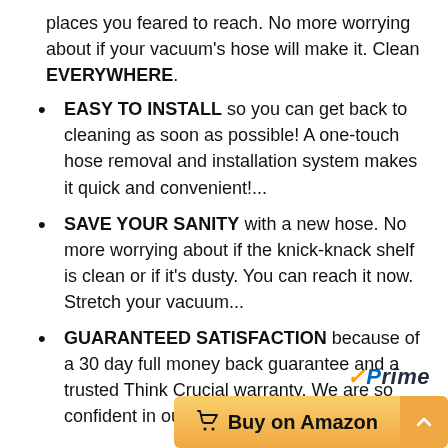places you feared to reach. No more worrying about if your vacuum's hose will make it. Clean EVERYWHERE.
EASY TO INSTALL so you can get back to cleaning as soon as possible! A one-touch hose removal and installation system makes it quick and convenient!...
SAVE YOUR SANITY with a new hose. No more worrying about if the knick-knack shelf is clean or if it's dusty. You can reach it now. Stretch your vacuum...
GUARANTEED SATISFACTION because of a 30 day full money back guarantee and a trusted Think Crucial warranty. We are so confident in our products that...
[Figure (logo): Amazon Prime logo with orange checkmark and italic Prime text]
[Figure (screenshot): Buy on Amazon orange button with shopping cart icon, and scroll-up arrow button]